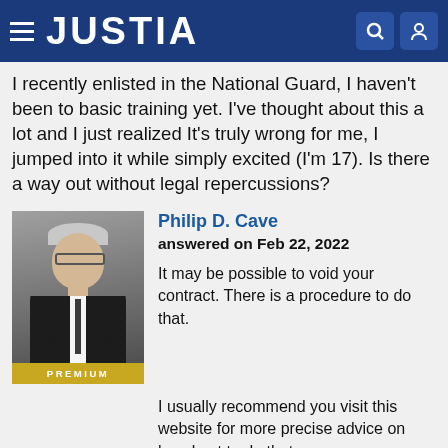JUSTIA
I recently enlisted in the National Guard, I haven't been to basic training yet. I've thought about this a lot and I just realized It's truly wrong for me, I jumped into it while simply excited (I'm 17). Is there a way out without legal repercussions?
[Figure (photo): Professional headshot of Philip D. Cave, an older man with gray hair and glasses wearing a dark suit, with a gold PREMIUM badge below]
Philip D. Cave
answered on Feb 22, 2022

It may be possible to void your contract. There is a procedure to do that.

I usually recommend you visit this website for more precise advice on how best to do that.

https://girightshotline.org/